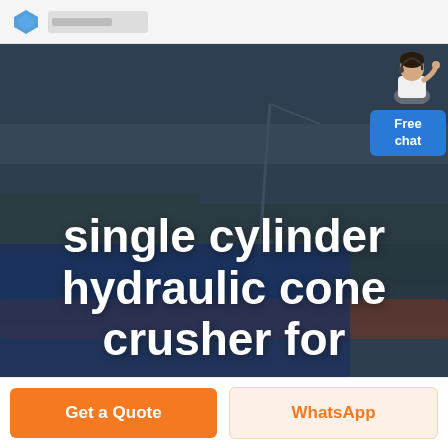[Figure (photo): Aerial/overhead industrial site photo showing construction area with cranes and equipment, overlaid with a dark blue semi-transparent panel. A customer service representative figure is shown in the upper right with a 'Free chat' blue button below them.]
single cylinder hydraulic cone crusher for
Get a Quote
WhatsApp